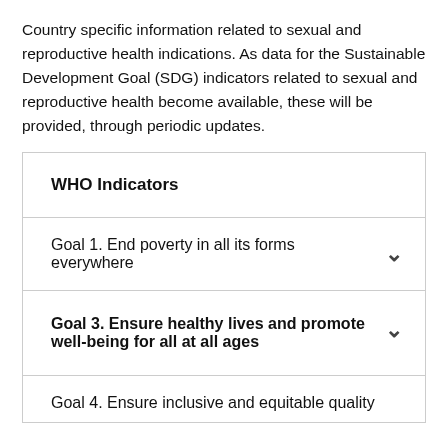Country specific information related to sexual and reproductive health indications. As data for the Sustainable Development Goal (SDG) indicators related to sexual and reproductive health become available, these will be provided, through periodic updates.
WHO Indicators
Goal 1. End poverty in all its forms everywhere
Goal 3. Ensure healthy lives and promote well-being for all at all ages
Goal 4. Ensure inclusive and equitable quality